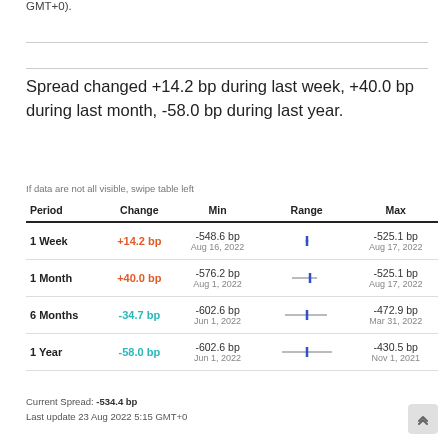GMT+0).
Spread changed +14.2 bp during last week, +40.0 bp during last month, -58.0 bp during last year.
If data are not all visible, swipe table left
| Period | Change | Min | Range | Max |
| --- | --- | --- | --- | --- |
| 1 Week | +14.2 bp | -548.6 bp Aug 16, 2022 | [range] | -525.1 bp Aug 17, 2022 |
| 1 Month | +40.0 bp | -576.2 bp Aug 1, 2022 | [range] | -525.1 bp Aug 17, 2022 |
| 6 Months | -34.7 bp | -602.6 bp Jun 1, 2022 | [range] | -472.9 bp Mar 31, 2022 |
| 1 Year | -58.0 bp | -602.6 bp Jun 1, 2022 | [range] | -430.5 bp Nov 1, 2021 |
Current Spread: -534.4 bp
Last update 23 Aug 2022 5:15 GMT+0